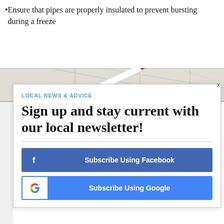Ensure that pipes are properly insulated to prevent bursting during a freeze
[Figure (photo): Close-up photo of a calendar page with a red marker/pen resting on it, showing numbers like 1, 2, 3]
LOCAL NEWS & ADVICE
Sign up and stay current with our local newsletter!
Subscribe Using Facebook
Subscribe Using Google